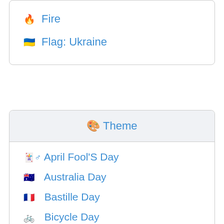🔥 Fire
🇺🇦 Flag: Ukraine
🎨 Theme
🃏♂ April Fool'S Day
🇦🇺 Australia Day
🇫🇷 Bastille Day
🚲 Bicycle Day
🧬 Biology
🎂 Birthday